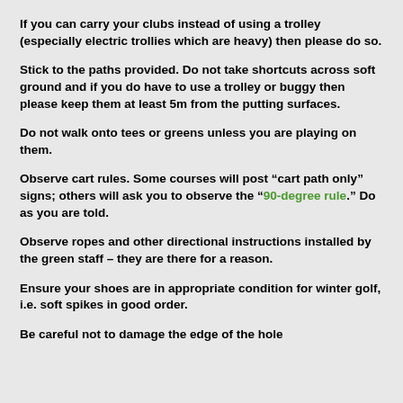If you can carry your clubs instead of using a trolley (especially electric trollies which are heavy) then please do so.
Stick to the paths provided. Do not take shortcuts across soft ground and if you do have to use a trolley or buggy then please keep them at least 5m from the putting surfaces.
Do not walk onto tees or greens unless you are playing on them.
Observe cart rules. Some courses will post “cart path only” signs; others will ask you to observe the “90-degree rule.” Do as you are told.
Observe ropes and other directional instructions installed by the green staff – they are there for a reason.
Ensure your shoes are in appropriate condition for winter golf, i.e. soft spikes in good order.
Be careful not to damage the edge of the hole